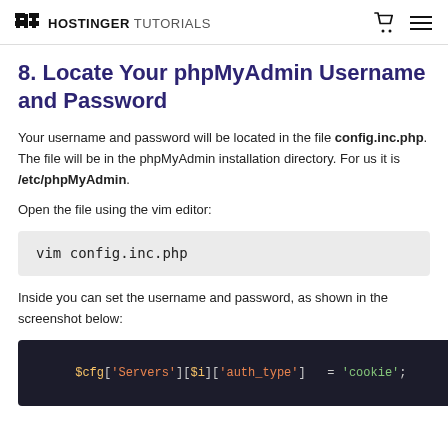HOSTINGER TUTORIALS
8. Locate Your phpMyAdmin Username and Password
Your username and password will be located in the file config.inc.php. The file will be in the phpMyAdmin installation directory. For us it is /etc/phpMyAdmin.
Open the file using the vim editor:
vim config.inc.php
Inside you can set the username and password, as shown in the screenshot below:
[Figure (screenshot): Terminal/code screenshot showing PHP config line: $cfg['Servers'][$i]['auth_type'] = 'cookie';]